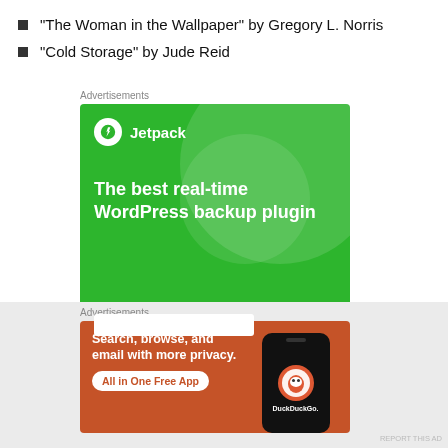“The Woman in the Wallpaper” by Gregory L. Norris
“Cold Storage” by Jude Reid
Advertisements
[Figure (screenshot): Jetpack advertisement banner: green background with large circle decoration, Jetpack logo and brand name, text 'The best real-time WordPress backup plugin', white button area at bottom.]
Advertisements
[Figure (screenshot): DuckDuckGo advertisement banner: orange-red background, text 'Search, browse, and email with more privacy. All in One Free App', image of smartphone with DuckDuckGo logo on right side.]